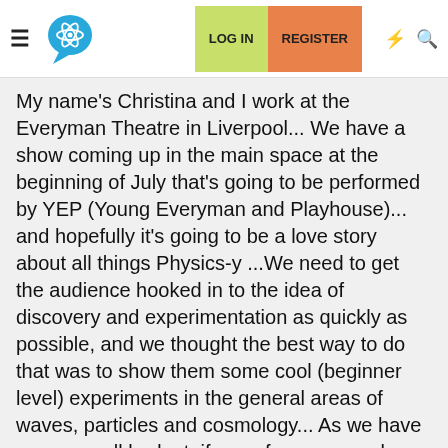Navigation bar with hamburger menu, science brain logo, LOG IN button, REGISTER button, lightning and search icons
My name's Christina and I work at the Everyman Theatre in Liverpool... We have a show coming up in the main space at the beginning of July that's going to be performed by YEP (Young Everyman and Playhouse)... and hopefully it's going to be a love story about all things Physics-y ...We need to get the audience hooked in to the idea of discovery and experimentation as quickly as possible, and we thought the best way to do that was to show them some cool (beginner level) experiments in the general areas of waves, particles and cosmology... As we have a very small budget, if any of you super-clever bods out there have any cool experiments or pieces of equipment that you've knocked up that you